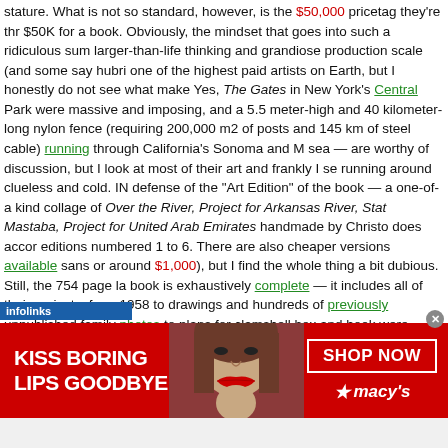stature. What is not so standard, however, is the $50,000 pricetag they're thr $50K for a book. Obviously, the mindset that goes into such a ridiculous sum larger-than-life thinking and grandiose production scale (and some say hubri one of the highest paid artists on Earth, but I honestly do not see what make Yes, The Gates in New York's Central Park were massive and imposing, and a 5.5 meter-high and 40 kilometer-long nylon fence (requiring 200,000 m2 of posts and 145 km of steel cable) running through California's Sonoma and M sea — are worthy of discussion, but I look at most of their art and frankly I se running around clueless and cold. IN defense of the "Art Edition" of the book — a one-of-a kind collage of Over the River, Project for Arkansas River, Stat Mastaba, Project for United Arab Emirates handmade by Christo does accor editions numbered 1 to 6. There are also cheaper versions available sans or around $1,000), but I find the whole thing a bit dubious. Still, the 754 page la book is exhaustively complete — it includes all of their projects, from 1958 to drawings and hundreds of previously unpublished family photos to plans for clamshell box and book were completely designed by Christo himself, and fe
[Figure (infographic): Macy's advertisement banner: 'KISS BORING LIPS GOODBYE' with a woman's face showing red lips, a 'SHOP NOW' button, and the Macy's star logo]